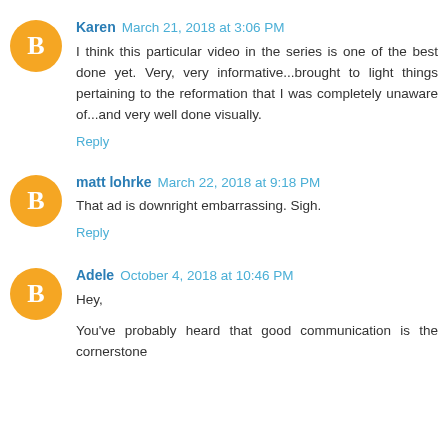Karen March 21, 2018 at 3:06 PM
I think this particular video in the series is one of the best done yet. Very, very informative...brought to light things pertaining to the reformation that I was completely unaware of...and very well done visually.
Reply
matt lohrke March 22, 2018 at 9:18 PM
That ad is downright embarrassing. Sigh.
Reply
Adele October 4, 2018 at 10:46 PM
Hey,
You've probably heard that good communication is the cornerstone